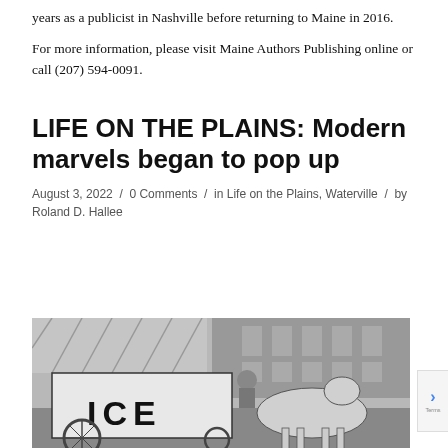years as a publicist in Nashville before returning to Maine in 2016.
For more information, please visit Maine Authors Publishing online or call (207) 594-0091.
LIFE ON THE PLAINS: Modern marvels began to pop up
August 3, 2022 / 0 Comments / in Life on the Plains, Waterville / by Roland D. Hallee
[Figure (photo): Black and white photograph of a horse-drawn ICE delivery wagon in front of a brick building. The wagon has 'ICE' written in large block letters on its side, with a horse visible on the right and a person driving.]